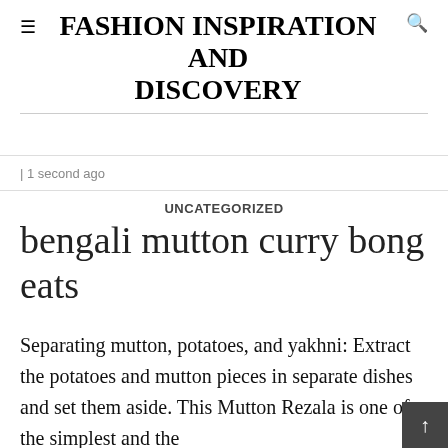≡FASHION INSPIRATION AND DISCOVERY
| 1 second ago
UNCATEGORIZED
bengali mutton curry bong eats
Separating mutton, potatoes, and yakhni: Extract the potatoes and mutton pieces in separate dishes and set them aside. This Mutton Rezala is one of the simplest and the